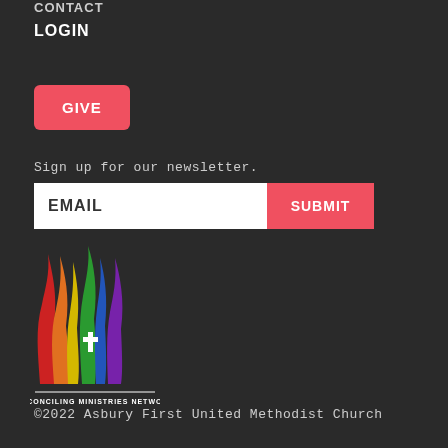CONTACT
LOGIN
GIVE
Sign up for our newsletter.
EMAIL
SUBMIT
[Figure (logo): Reconciling Ministries Network logo with colorful flame shapes and a cross, with text 'RECONCILING MINISTRIES NETWORK' below]
©2022 Asbury First United Methodist Church